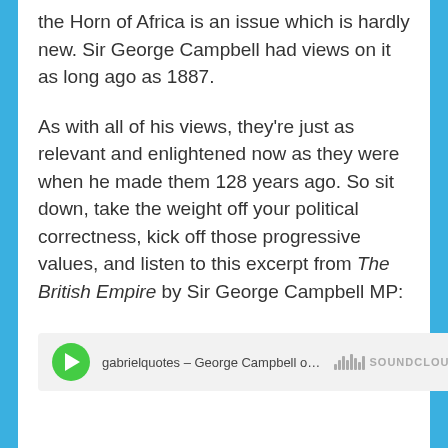the Horn of Africa is an issue which is hardly new. Sir George Campbell had views on it as long ago as 1887.
As with all of his views, they're just as relevant and enlightened now as they were when he made them 128 years ago. So sit down, take the weight off your political correctness, kick off those progressive values, and listen to this excerpt from The British Empire by Sir George Campbell MP:
[Figure (other): SoundCloud embedded audio player widget showing: gabrielquotes – George Campbell on Af... with a green play button and SoundCloud logo]